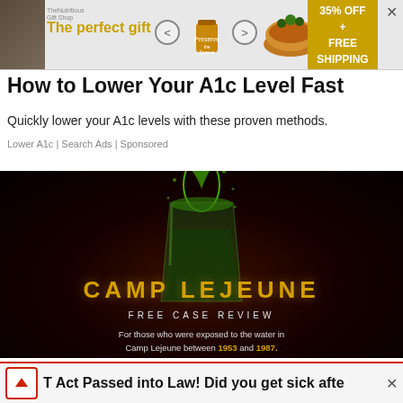[Figure (screenshot): Top banner advertisement showing 'The perfect gift' with food bowl imagery and '35% OFF + FREE SHIPPING' promotion with close button]
How to Lower Your A1c Level Fast
Quickly lower your A1c levels with these proven methods.
Lower A1c | Search Ads | Sponsored
[Figure (photo): Camp Lejeune Free Case Review advertisement showing a glass of green liquid splashing on dark background with text 'CAMP LEJEUNE FREE CASE REVIEW — For those who were exposed to the water in Camp Lejeune between 1953 and 1987.']
T Act Passed into Law! Did you get sick afte
[Figure (screenshot): Partial bottom banner advertisement with upward arrow icon and close button, showing '35% OFF' promotion strip on right side]